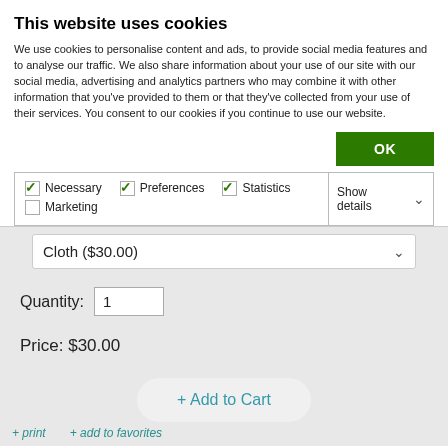This website uses cookies
We use cookies to personalise content and ads, to provide social media features and to analyse our traffic. We also share information about your use of our site with our social media, advertising and analytics partners who may combine it with other information that you've provided to them or that they've collected from your use of their services. You consent to our cookies if you continue to use our website.
OK
✓ Necessary   ✓ Preferences   ✓ Statistics   Marketing (unchecked)   Show details ▾
Cloth ($30.00)
Quantity: 1
Price: $30.00
+ Add to Cart
+ print   + add to favorites